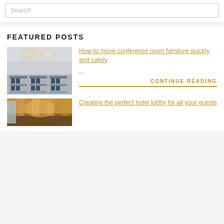Search
FEATURED POSTS
[Figure (photo): Conference room with rows of blue chairs and tables, circular pendant lights on ceiling]
How to move conference room furniture quickly and safely
...
CONTINUE READING
[Figure (photo): Hotel lobby with warm golden lighting and decorative columns]
Creating the perfect hotel lobby for all your guests